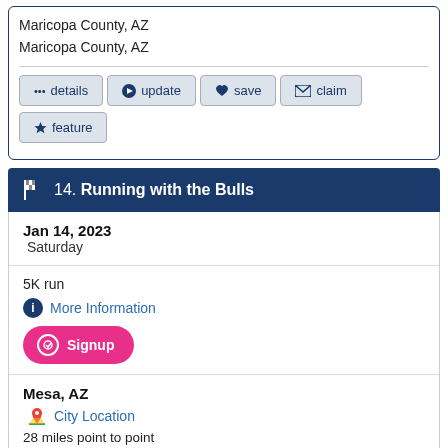Maricopa County, AZ
Maricopa County, AZ
••• details
➤ update
♥ save
✉ claim
★ feature
14. Running with the Bulls
Jan 14, 2023
Saturday
5K run
More Information
Signup
Mesa, AZ
City Location
28 miles point to point
Directions